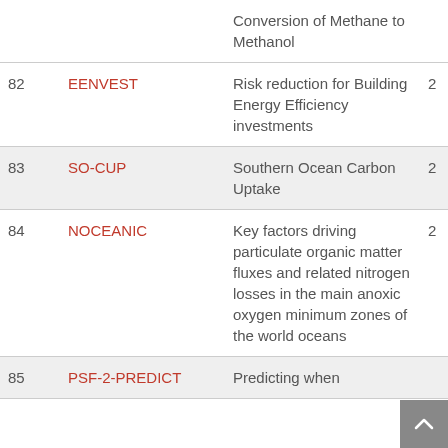| # | Acronym | Title |  |
| --- | --- | --- | --- |
|  |  | Conversion of Methane to Methanol |  |
| 82 | EENVEST | Risk reduction for Building Energy Efficiency investments | 2 |
| 83 | SO-CUP | Southern Ocean Carbon Uptake | 2 |
| 84 | NOCEANIC | Key factors driving particulate organic matter fluxes and related nitrogen losses in the main anoxic oxygen minimum zones of the world oceans | 2 |
| 85 | PSF-2-PREDICT | Predicting when... |  |